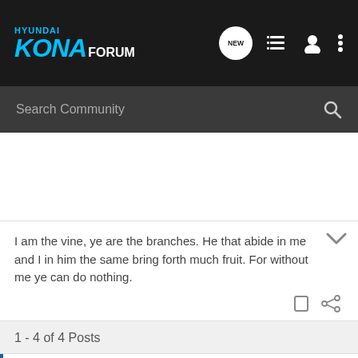HYUNDAI KONA FORUM
Search Community
I am the vine, ye are the branches. He that abide in me and I in him the same bring forth much fruit. For without me ye can do nothing.
1 - 4 of 4 Posts
This is an older thread, you may not receive a response, and could be reviving an old thread. Please consider creating a new thread.